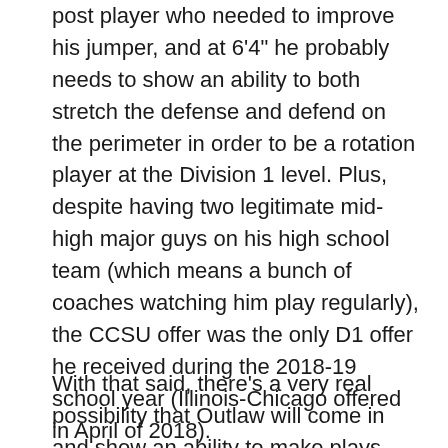post player who needed to improve his jumper, and at 6'4" he probably needs to show an ability to both stretch the defense and defend on the perimeter in order to be a rotation player at the Division 1 level. Plus, despite having two legitimate mid-high major guys on his high school team (which means a bunch of coaches watching him play regularly), the CCSU offer was the only D1 offer he received during the 2018-19 school year (Illinois-Chicago offered in April of 2018).
With that said, there's a very real possibility that Outlaw will come in and show an ability to make plays offensively (including breaking down